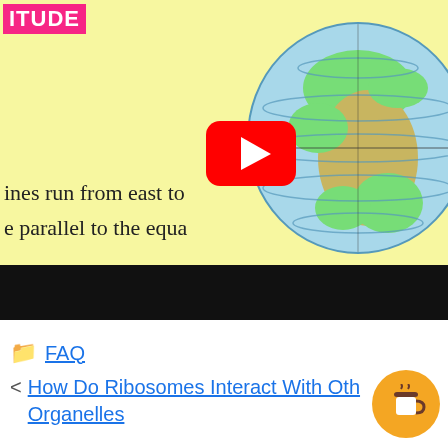[Figure (screenshot): YouTube video thumbnail showing a globe on a yellow background with text about latitude lines running east to west and parallel to the equator. A YouTube play button overlay is visible. The top-left has a pink/magenta label reading 'ITUDE'.]
FAQ
< How Do Ribosomes Interact With Other Organelles